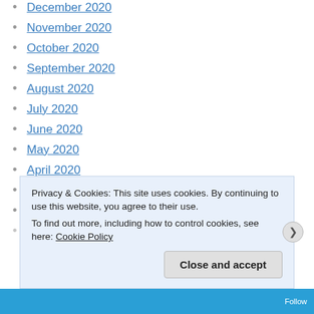December 2020
November 2020
October 2020
September 2020
August 2020
July 2020
June 2020
May 2020
April 2020
February 2019
July 2018
April 2018 (partial, cut off)
Privacy & Cookies: This site uses cookies. By continuing to use this website, you agree to their use. To find out more, including how to control cookies, see here: Cookie Policy
Close and accept